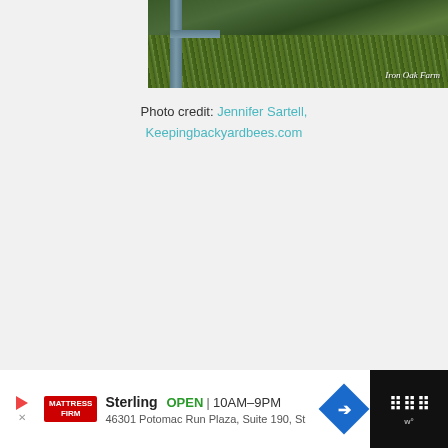[Figure (photo): Partial view of a beehive structure with a wooden post and green grassy background, watermarked 'Iron Oak Farm']
Photo credit: Jennifer Sartell, Keepingbackyardbees.com
[Figure (other): Three grey dots indicating a loading or pagination indicator]
[Figure (other): Advertisement banner for Mattress Firm Sterling location: OPEN 10AM-9PM, 46301 Potomac Run Plaza, Suite 190, St]